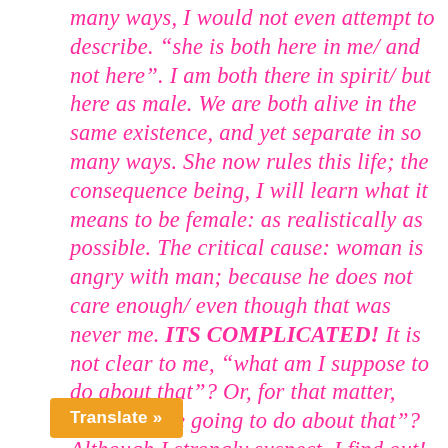many ways, I would not even attempt to describe. “she is both here in me/ and not here”. I am both there in spirit/ but here as male. We are both alive in the same existence, and yet separate in so many ways. She now rules this life; the consequence being, I will learn what it means to be female: as realistically as possible. The critical cause: woman is angry with man; because he does not care enough/ even though that was never me. ITS COMPLICATED! It is not clear to me, “what am I suppose to do about that”? Or, for that matter, “what is she going to do about that”? Although I strongly suspect, I find out! Truth is truth, and it does